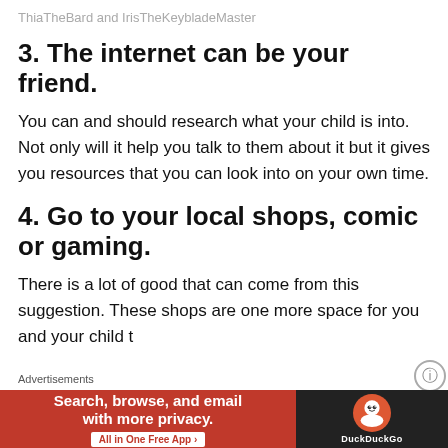ThiaTheBard and IrisTheKeybladeMaster
3. The internet can be your friend.
You can and should research what your child is into. Not only will it help you talk to them about it but it gives you resources that you can look into on your own time.
4. Go to your local shops, comic or gaming.
There is a lot of good that can come from this suggestion. These shops are one more space for you and your child t…
Advertisements
[Figure (other): DuckDuckGo advertisement banner: orange left panel with text 'Search, browse, and email with more privacy. All in One Free App', dark right panel with DuckDuckGo logo]